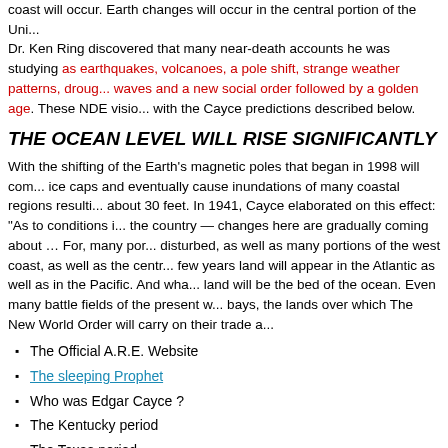coast will occur. Earth changes will occur in the central portion of the Uni... Dr. Ken Ring discovered that many near-death accounts he was studying as earthquakes, volcanoes, a pole shift, strange weather patterns, droug... waves and a new social order followed by a golden age. These NDE visio... with the Cayce predictions described below.
THE OCEAN LEVEL WILL RISE SIGNIFICANTLY
With the shifting of the Earth's magnetic poles that began in 1998 will com... ice caps and eventually cause inundations of many coastal regions resulti... about 30 feet. In 1941, Cayce elaborated on this effect: "As to conditions i... the country — changes here are gradually coming about … For, many por... disturbed, as well as many portions of the west coast, as well as the centr... few years land will appear in the Atlantic as well as in the Pacific. And wha... land will be the bed of the ocean. Even many battle fields of the present w... bays, the lands over which The New World Order will carry on their trade a...
The Official A.R.E. Website
The sleeping Prophet
Who was Edgar Cayce ?
The Kentucky period
The Texas period
The Virginia Beach period
Psychic abilities